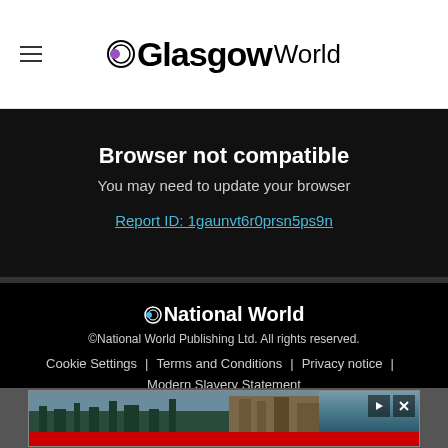GlasgowWorld
Browser not compatible
You may need to update your browser
Report ID: 1gaunvt6r0prsn5ps9n
[Figure (logo): National World logo with circular icon]
©National World Publishing Ltd. All rights reserved.
Cookie Settings | Terms and Conditions | Privacy notice | Modern Slavery Statement
[Figure (photo): Advertisement banner showing landscape with buildings, red bar at bottom]